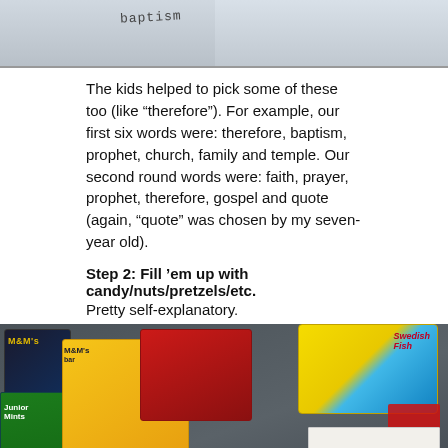[Figure (photo): Top portion of a photo showing white envelopes or papers, partially cropped]
The kids helped to pick some of these too (like “therefore”). For example, our first six words were: therefore, baptism, prophet, church, family and temple. Our second round words were: faith, prayer, prophet, therefore, gospel and quote (again, “quote” was chosen by my seven-year old).
Step 2: Fill ’em up with candy/nuts/pretzels/etc.
Pretty self-explanatory.
[Figure (photo): Photo of various candy packages (M&Ms, Swedish Fish, Junior Mints, Reese's Pieces) piled on a surface with white envelopes labeled 'prophet' and 'therefore' visible]